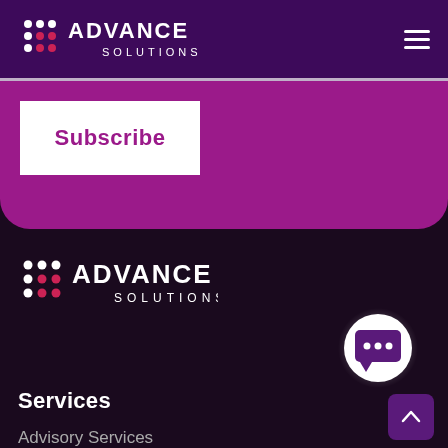ADVANCE SOLUTIONS
[Figure (logo): Advance Solutions logo in white on dark purple navigation bar, with hamburger menu icon on right]
Subscribe
[Figure (logo): Advance Solutions footer logo in white on dark background]
[Figure (illustration): White chat bubble icon with three dots on white circular glowing background]
Services
Advisory Services